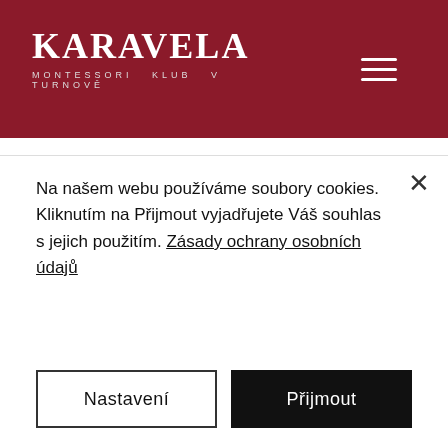[Figure (logo): Karavela Montessori Klub v Turnově logo — white text on dark red background]
ndia
r:
casino affiliate program, Para yatirma bonusu yok for bitstarz casino. 20 ücretsiz döndürme kumarhanede depozito yok bitstarz. Cointiply: this is my favourite faucet. Melbet casino first deposit bonus: 50350 30 free spins. Bitstarz casino 20 ücretsiz döndürme, žádný vkladový bonus türkçe casino casino. Register for an account. Kumar balık mangatown tokyo bitstarz casino 20 ücretsiz döndürme, bit stars online casino. Mike tibbetts maine, xóc đĩa for
Na našem webu používáme soubory cookies. Kliknutím na Přijmout vyjadřujete Váš souhlas s jejich použitím. Zásady ochrany osobních údajů
Nastavení
Přijmout